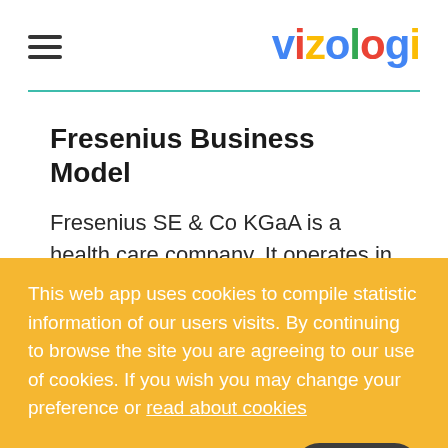vizologi
Fresenius Business Model
Fresenius SE & Co KGaA is a health care company. It operates in the healthcare sector and offers products and ...
This web app uses cookies to compile statistic information of our users visits. By continuing to browse the site you are agreeing to our use of cookies. If you wish you may change your preference or read about cookies